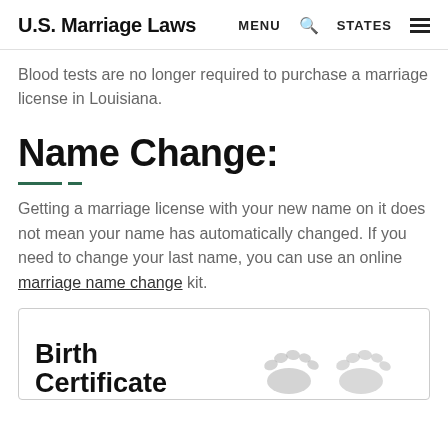U.S. Marriage Laws  MENU  STATES
Blood tests are no longer required to purchase a marriage license in Louisiana.
Name Change:
Getting a marriage license with your new name on it does not mean your name has automatically changed. If you need to change your last name, you can use an online marriage name change kit.
[Figure (illustration): Card box showing 'Birth Certificate' text with baby footprints illustration on the right side]